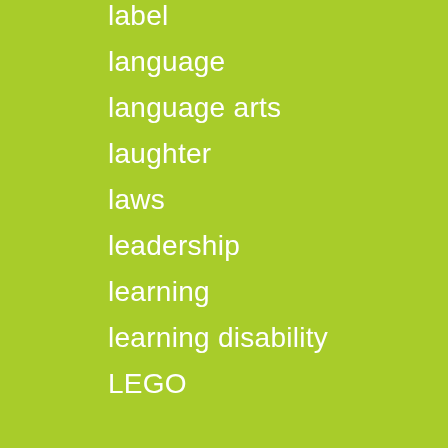label
language
language arts
laughter
laws
leadership
learning
learning disability
LEGO